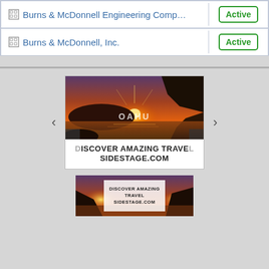| Company | Status |
| --- | --- |
| Burns & McDonnell Engineering Comp... | Active |
| Burns & McDonnell, Inc. | Active |
[Figure (screenshot): Travel advertisement banner showing sunset over Oahu coastline with text 'OAHU' overlaid, navigation arrows, and tagline 'DISCOVER AMAZING TRAVEL SIDESTAGE.COM']
[Figure (screenshot): Smaller travel advertisement showing sunset coastline with text 'DISCOVER AMAZING TRAVEL SIDESTAGE.COM' in center overlay]